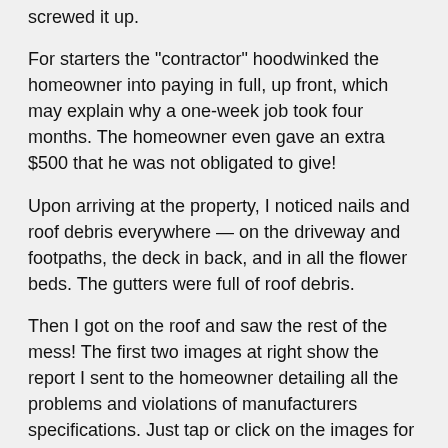screwed it up.
For starters the "contractor" hoodwinked the homeowner into paying in full, up front, which may explain why a one-week job took four months. The homeowner even gave an extra $500 that he was not obligated to give!
Upon arriving at the property, I noticed nails and roof debris everywhere — on the driveway and footpaths, the deck in back, and in all the flower beds. The gutters were full of roof debris.
Then I got on the roof and saw the rest of the mess! The first two images at right show the report I sent to the homeowner detailing all the problems and violations of manufacturers specifications. Just tap or click on the images for a larger view.
Roof coverings must be installed to manufacturers specifications according to the Oregon Residential Specialty Code. It is any contractor's responsibility, obligation, and legal